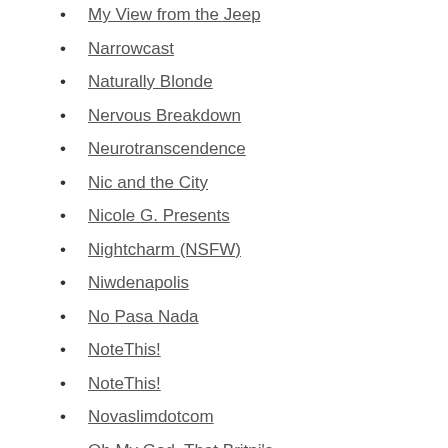My View from the Jeep
Narrowcast
Naturally Blonde
Nervous Breakdown
Neurotranscendence
Nic and the City
Nicole G. Presents
Nightcharm (NSFW)
Niwdenapolis
No Pasa Nada
NoteThis!
NoteThis!
Novaslimdotcom
Oh My God, That Britni's Shameless
Oh, Manchester. So Much To Answer For
Omernos
One Post Wonder